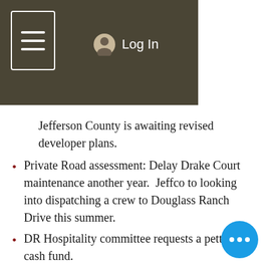[Figure (screenshot): Navigation bar overlay with hamburger menu icon and Log In button on dark olive/brown background]
Jefferson County is awaiting revised developer plans.
Private Road assessment: Delay Drake Court maintenance another year.  Jeffco to looking into dispatching a crew to Douglass Ranch Drive this summer.
DR Hospitality committee requests a petty cash fund.
Hite mailbox: No progress.  Another letter is planned with a June 15th deadline.
New Business Items
Fire Mitigation presentation by Creek Fire Department is scheduled